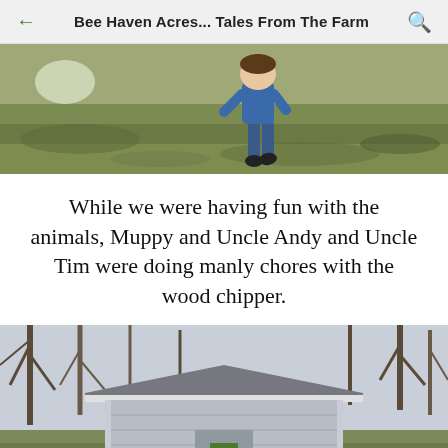Bee Haven Acres... Tales From The Farm
[Figure (photo): Child running across a grassy field, wearing blue jacket and jeans, viewed from behind]
While we were having fun with the animals, Muppy and Uncle Andy and Uncle Tim were doing manly chores with the wood chipper.
[Figure (photo): Small outbuilding or shed with grey roof surrounded by bare trees in winter]